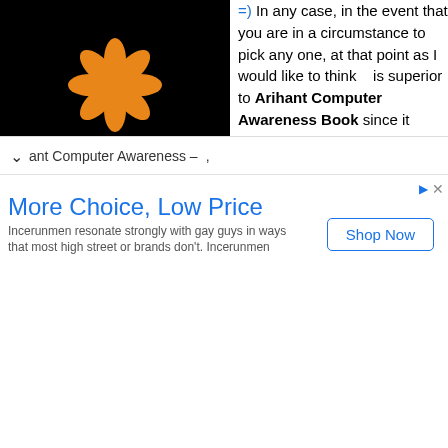[Figure (logo): Arihant publisher logo: orange flower/petal design on black background with white text 'arihant' below]
=) In any case, in the event that you are in a circumstance to pick any one, at that point as I would like to think   is superior to Arihant Computer Awareness Book since it covers practically all the significant themes that Arihant covers as well however in a less expensive cost and less difficult dialect. So you can go to Arihant Computer Awareness Download PDF.
ant Computer Awareness –     ,
More Choice, Low Price
Incerunmen resonate strongly with gay guys in ways that most high street or brands don't. Incerunmen
Shop Now